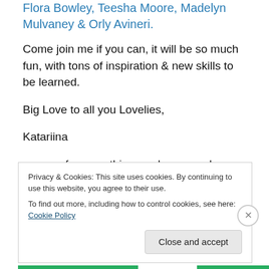Flora Bowley, Teesha Moore, Madelyn Mulvaney & Orly Avineri.
Come join me if you can, it will be so much fun, with tons of inspiration & new skills to be learned.
Big Love to all you Lovelies,
Katariina
ps. now for something random or perhaps I've got Hawaii on my mind!
Privacy & Cookies: This site uses cookies. By continuing to use this website, you agree to their use.
To find out more, including how to control cookies, see here: Cookie Policy